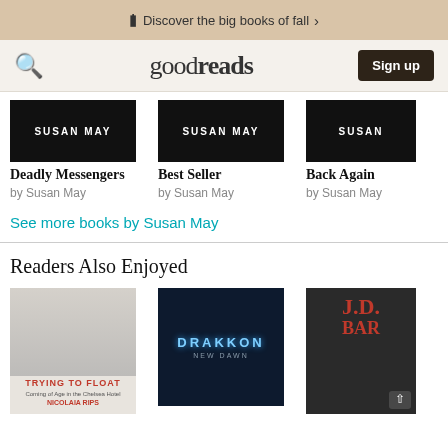Discover the big books of fall >
goodreads  Sign up
[Figure (photo): Book cover: Deadly Messengers by Susan May — dark cover with SUSAN MAY text]
Deadly Messengers
by Susan May
[Figure (photo): Book cover: Best Seller by Susan May — dark cover with SUSAN MAY text]
Best Seller
by Susan May
[Figure (photo): Book cover: Back Again by Susan May — dark cover with SUSAN text (partially cropped)]
Back Again
by Susan May
See more books by Susan May
Readers Also Enjoyed
[Figure (photo): Book cover: Trying to Float by Nicolaia Rips — black and white photo of two girls, red title text]
[Figure (photo): Book cover: Drakkon New Dawn — dark fantasy cover with teal DRAKKON title text]
[Figure (photo): Book cover: J.D. Barr — dark cover with red initials, partially cropped]